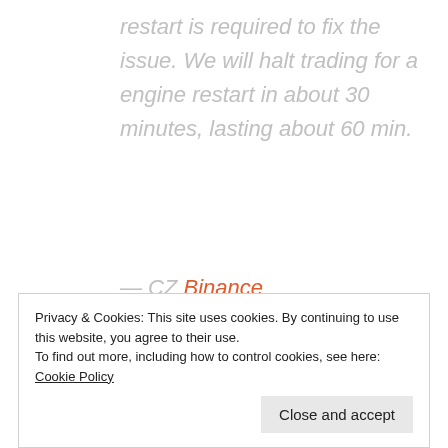restart is required to fix the issue. We will halt trading for a engine restart in about 30 minutes, lasting about 60 min.
— CZ Binance (@cz_binance) October 19, 2018
Privacy & Cookies: This site uses cookies. By continuing to use this website, you agree to their use. To find out more, including how to control cookies, see here: Cookie Policy